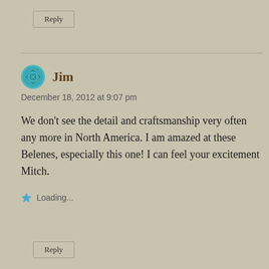Reply
Jim
December 18, 2012 at 9:07 pm
We don't see the detail and craftsmanship very often any more in North America. I am amazed at these Belenes, especially this one! I can feel your excitement Mitch.
Loading...
Reply